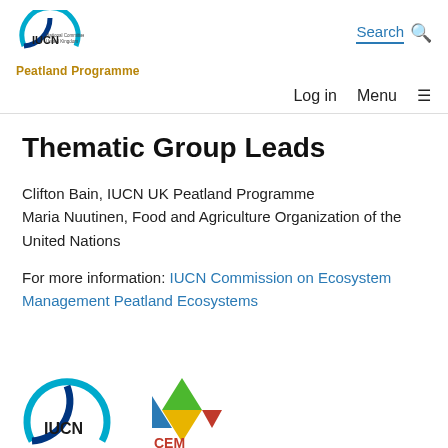[Figure (logo): IUCN National Committee United Kingdom logo with circular blue arc and text]
Peatland Programme
Search
Log in   Menu
Thematic Group Leads
Clifton Bain, IUCN UK Peatland Programme
Maria Nuutinen, Food and Agriculture Organization of the United Nations
For more information: IUCN Commission on Ecosystem Management Peatland Ecosystems
[Figure (logo): IUCN logo at bottom of page]
[Figure (logo): CEM logo at bottom of page]